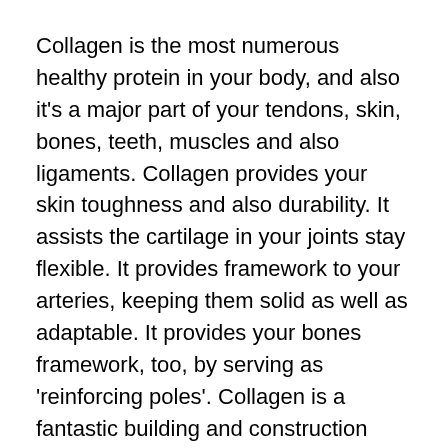Collagen is the most numerous healthy protein in your body, and also it's a major part of your tendons, skin, bones, teeth, muscles and also ligaments. Collagen provides your skin toughness and also durability. It assists the cartilage in your joints stay flexible. It provides framework to your arteries, keeping them solid as well as adaptable. It provides your bones framework, too, by serving as 'reinforcing poles'. Collagen is a fantastic building and construction product.
Collagen comes in several forms, but the huge bulk in your body consists of kinds I, II and also III. These kinds all form fairly long fibers (contrasted to body cells). Kind I